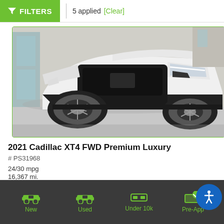FILTERS | 5 applied [Clear]
[Figure (photo): Front view of a white 2021 Cadillac XT4 SUV parked outdoors]
2021 Cadillac XT4 FWD Premium Luxury
# PS31968
24/30 mpg
16,367 mi.
Turbocharged Gas I4 2.0L/
FWD
[Figure (screenshot): Value Your Trade button and two icon buttons (chat, text)]